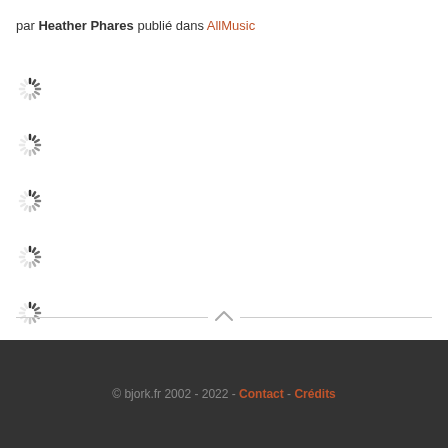par Heather Phares publié dans AllMusic
[Figure (other): Seven loading spinner icons arranged vertically]
© bjork.fr 2002 - 2022 - Contact - Crédits